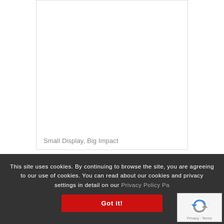[Figure (other): White card/panel area with border on white background, partially visible at top of page]
Small Display, Big Impact
This site uses cookies. By continuing to browse the site, you are agreeing to our use of cookies. You can read about our cookies and privacy settings in detail on our Privacy Policy Pa...
Got it!
[Figure (other): reCAPTCHA badge with logo, showing Privacy - Terms text]